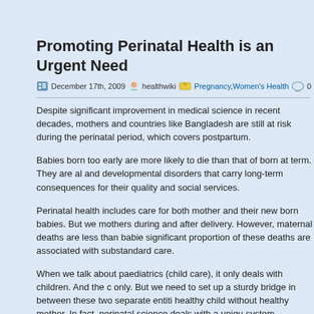Promoting Perinatal Health is an Urgent Need
December 17th, 2009  healthwiki  Pregnancy,Women's Health  0
Despite significant improvement in medical science in recent decades, mothers and countries like Bangladesh are still at risk during the perinatal period, which covers postpartum.
Babies born too early are more likely to die than that of born at term. They are also at risk for physical and developmental disorders that carry long-term consequences for their quality of life and demands on health and social services.
Perinatal health includes care for both mother and their new born babies. But we still have tendency to focus on mothers during and after delivery. However, maternal deaths are less than babies deaths, and a significant proportion of these deaths are associated with substandard care.
When we talk about paediatrics (child care), it only deals with children. And the obstetrics deals with mothers only. But we need to set up a sturdy bridge in between these two separate entities. We cannot think of healthy child without healthy mother. In fact, perinatal science deals with a unique mother-baby dyad as a system.
Bangladesh has made a significant progress in reducing maternal and infant deaths. This has been possible because of strong leadership of the Ministry of Health and Family Welfare, Government of Bangladesh, supportive policy environment, technical and financial commitment of donors and